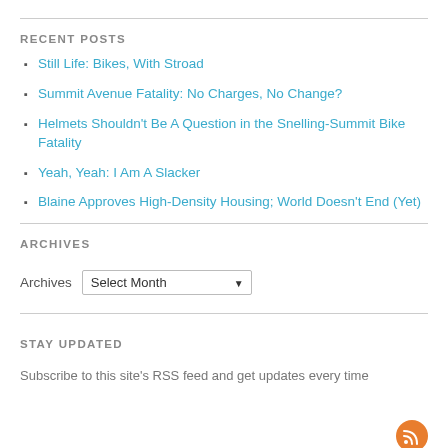RECENT POSTS
Still Life: Bikes, With Stroad
Summit Avenue Fatality: No Charges, No Change?
Helmets Shouldn't Be A Question in the Snelling-Summit Bike Fatality
Yeah, Yeah: I Am A Slacker
Blaine Approves High-Density Housing; World Doesn't End (Yet)
ARCHIVES
Archives  Select Month
STAY UPDATED
Subscribe to this site's RSS feed and get updates every time